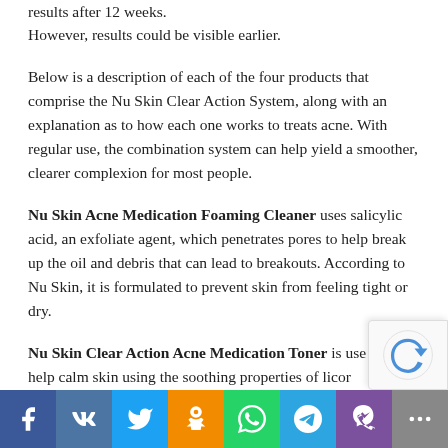results after 12 weeks.
However, results could be visible earlier.
Below is a description of each of the four products that comprise the Nu Skin Clear Action System, along with an explanation as to how each one works to treats acne. With regular use, the combination system can help yield a smoother, clearer complexion for most people.
Nu Skin Acne Medication Foaming Cleaner uses salicylic acid, an exfoliate agent, which penetrates pores to help break up the oil and debris that can lead to breakouts. According to Nu Skin, it is formulated to prevent skin from feeling tight or dry.
Nu Skin Clear Action Acne Medication Toner is use... help calm skin using the soothing properties of licor...